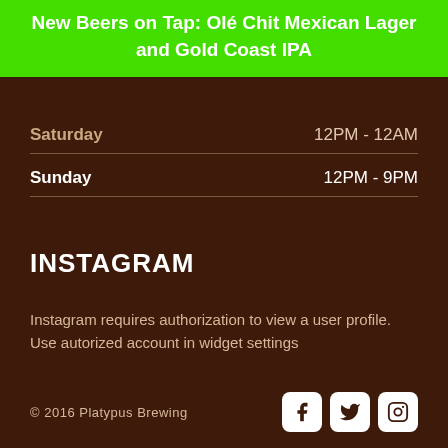New Beers on Tap: Olé Chit Mexican Lager and Gold Coast IPA
Saturday    12PM - 12AM
Sunday    12PM - 9PM
INSTAGRAM
Instagram requires authorization to view a user profile. Use autorized account in widget settings
© 2016 Platypus Brewing